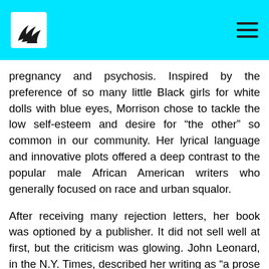pregnancy and psychosis. Inspired by the preference of so many little Black girls for white dolls with blue eyes, Morrison chose to tackle the low self-esteem and desire for “the other” so common in our community. Her lyrical language and innovative plots offered a deep contrast to the popular male African American writers who generally focused on race and urban squalor.

After receiving many rejection letters, her book was optioned by a publisher. It did not sell well at first, but the criticism was glowing. John Leonard, in the N.Y. Times, described her writing as “a prose so precise, so faithful to speech and so charged with pain and wonder that the novel becomes poetry.” Toni was on her way. Though the story is about young characters, it is definitely